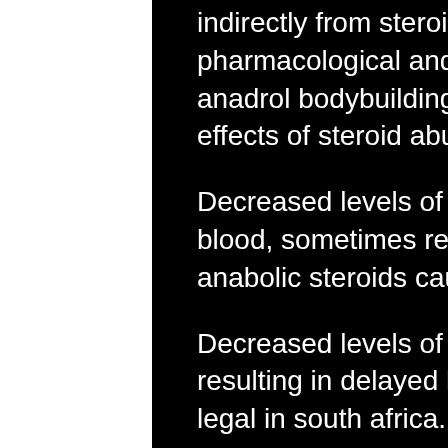indirectly from steroid abuse and a variety of other pharmacological and nonpharmacological effects, anadrol bodybuilding dosage. Some of the adverse effects of steroid abuse include:
Decreased levels of the testosterone hormone in the blood, sometimes referred to as hypogonadism, can anabolic steroids cause hypertension.
Decreased levels of insulin, the blood-sugar regulator, resulting in delayed hypoglycemia, are anabolic steroids legal in south africa.
Decreased levels of the progesterone hormone, a hormone responsible for egg maturation, which can lead to delayed ovulation, diminished fertility, and premature menopause.